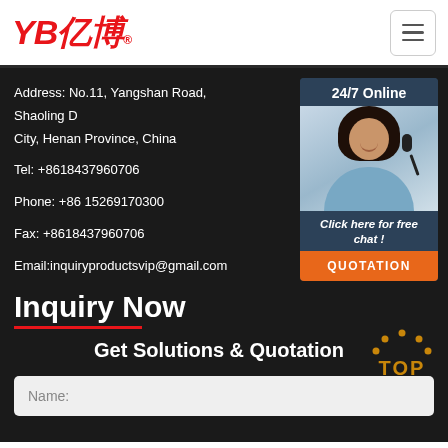[Figure (logo): YB亿博 logo in red italic text with registered trademark symbol]
Address: No.11, Yangshan Road, Shaoling District, City, Henan Province, China
Tel: +8618437960706
Phone: +86 15269170300
Fax: +8618437960706
Email:inquiryproductsvip@gmail.com
[Figure (infographic): 24/7 Online chat widget with photo of woman with headset and 'Click here for free chat!' text and QUOTATION button]
Inquiry Now
Get Solutions & Quotation
[Figure (other): TOP back-to-top button with orange dots arc and orange TOP text]
Name: